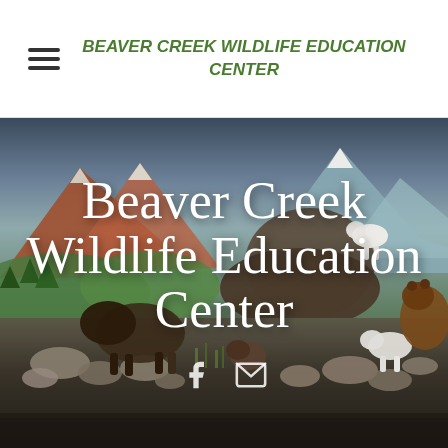BEAVER CREEK WILDLIFE EDUCATION CENTER
[Figure (photo): Indoor wildlife diorama display featuring taxidermied animals including bison, bear, mountain goat, and polar bear arranged in a naturalistic setting with a painted mountain landscape mural background]
Beaver Creek Wildlife Education Center